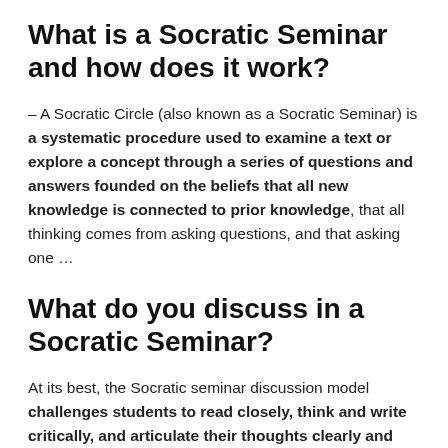What is a Socratic Seminar and how does it work?
– A Socratic Circle (also known as a Socratic Seminar) is a systematic procedure used to examine a text or explore a concept through a series of questions and answers founded on the beliefs that all new knowledge is connected to prior knowledge, that all thinking comes from asking questions, and that asking one …
What do you discuss in a Socratic Seminar?
At its best, the Socratic seminar discussion model challenges students to read closely, think and write critically, and articulate their thoughts clearly and respectfully.